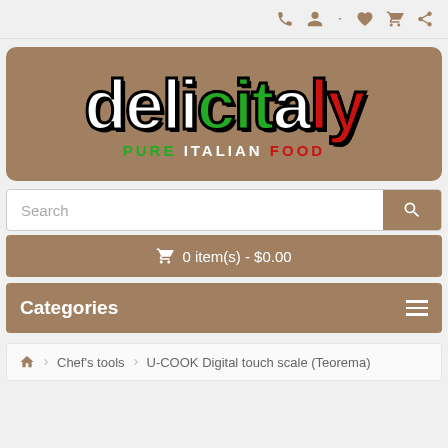Navigation icons: phone, account, wishlist, cart, share
[Figure (logo): Delicitaly - Pure Italian Food logo. Bold stylized text 'delicitaly' with 'it' in green and 'al' in red/green Italian flag colors on a brown background. Subtitle: PURE ITALIAN FOOD]
Search
0 item(s) - $0.00
Categories
Home > Chef's tools > U-COOK Digital touch scale (Teorema)